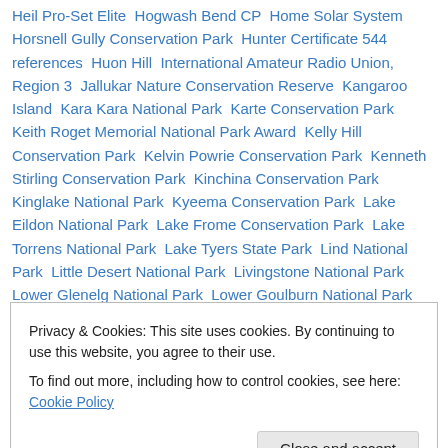Heil Pro-Set Elite  Hogwash Bend CP  Home Solar System  Horsnell Gully Conservation Park  Hunter Certificate 544 references  Huon Hill  International Amateur Radio Union, Region 3  Jallukar Nature Conservation Reserve  Kangaroo Island  Kara Kara National Park  Karte Conservation Park  Keith Roget Memorial National Park Award  Kelly Hill Conservation Park  Kelvin Powrie Conservation Park  Kenneth Stirling Conservation Park  Kinchina Conservation Park  Kinglake National Park  Kyeema Conservation Park  Lake Eildon National Park  Lake Frome Conservation Park  Lake Torrens National Park  Lake Tyers State Park  Lind National Park  Little Desert National Park  Livingstone National Park  Lower Glenelg National Park  Lower Goulburn National Park  Maize Island Lagoon CP  Maria Island National Park  Marino Rocks CP  Mark Oliphant Conservation Park  Martindale
Privacy & Cookies: This site uses cookies. By continuing to use this website, you agree to their use. To find out more, including how to control cookies, see here: Cookie Policy
National Park  Mount Richmond National Park  Mount Scott  Mount